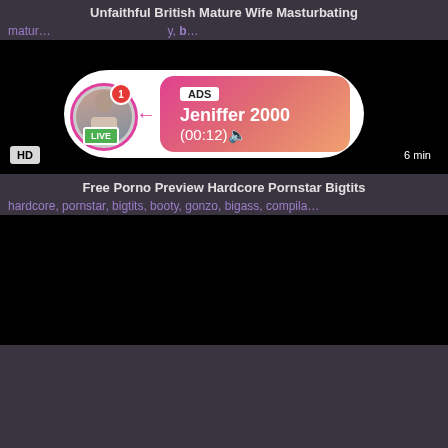Unfaithful British Mature Wife Masturbating
matur…  …y, b…
[Figure (screenshot): Dark video player with HD badge bottom-left and 6 min duration bottom-right, overlaid with an ad popup showing a profile avatar with LIVE badge, notification count 1, and pink gradient banner with ADS label, Jeniffer 2000 name, and (00:12) timestamp]
Free Porno Preview Hardcore Pornstar Bigtits
hardcore, pornstar, bigtits, booty, gonzo, bigass, compila…
[Figure (screenshot): Dark video player thumbnail, mostly black]